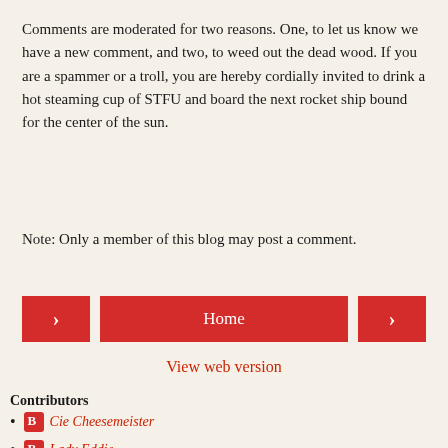Comments are moderated for two reasons. One, to let us know we have a new comment, and two, to weed out the dead wood. If you are a spammer or a troll, you are hereby cordially invited to drink a hot steaming cup of STFU and board the next rocket ship bound for the center of the sun.
Note: Only a member of this blog may post a comment.
[Figure (other): Navigation bar with left arrow button, Home button, and right arrow button, all in red]
View web version
Contributors
Cie Cheesemeister
Lady Eddie
Ornery Owl of Naughty Netherworld Press and Readers Roost (Not